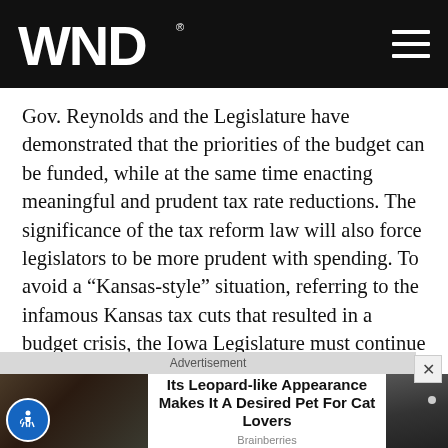WND
Gov. Reynolds and the Legislature have demonstrated that the priorities of the budget can be funded, while at the same time enacting meaningful and prudent tax rate reductions. The significance of the tax reform law will also force legislators to be more prudent with spending. To avoid a “Kansas-style” situation, referring to the infamous Kansas tax cuts that resulted in a budget crisis, the Iowa Legislature must continue to rein in spending growth.
[Figure (photo): Advertisement banner showing a woman holding a cat-like exotic pet, with text 'Its Leopard-like Appearance Makes It A Desired Pet For Cat Lovers' and source 'Brainberries']